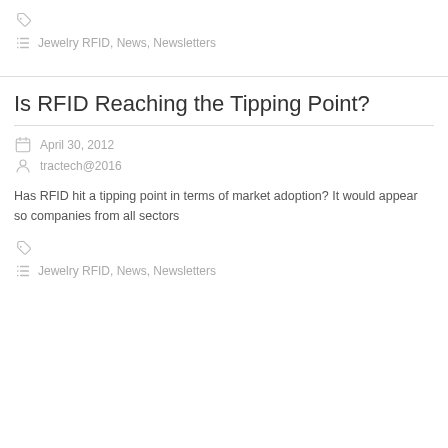Jewelry RFID, News, Newsletters
Is RFID Reaching the Tipping Point?
April 30, 2012
tractech@2016
Has RFID hit a tipping point in terms of market adoption? It would appear so companies from all sectors
Jewelry RFID, News, Newsletters